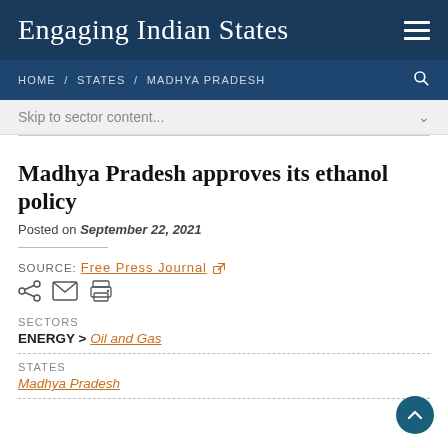Engaging Indian States
HOME / STATES / MADHYA PRADESH
Skip to sector content...
Madhya Pradesh approves its ethanol policy
Posted on September 22, 2021
SOURCE: Free Press Journal
SECTORS
ENERGY > Oil and Gas
STATES
Madhya Pradesh